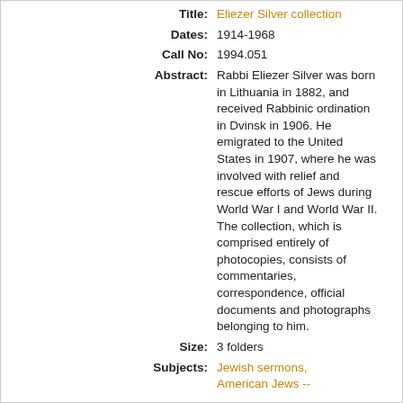Title: Eliezer Silver collection
Dates: 1914-1968
Call No: 1994.051
Abstract: Rabbi Eliezer Silver was born in Lithuania in 1882, and received Rabbinic ordination in Dvinsk in 1906. He emigrated to the United States in 1907, where he was involved with relief and rescue efforts of Jews during World War I and World War II. The collection, which is comprised entirely of photocopies, consists of commentaries, correspondence, official documents and photographs belonging to him.
Size: 3 folders
Subjects: Jewish sermons, American Jews --